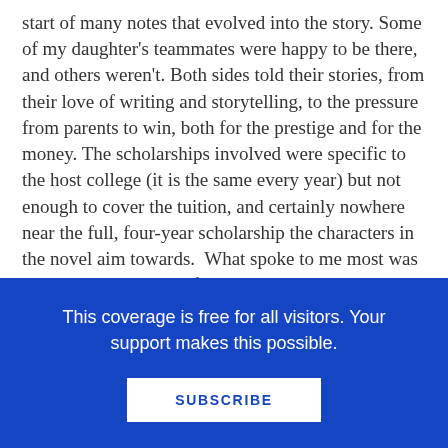start of many notes that evolved into the story. Some of my daughter's teammates were happy to be there, and others weren't. Both sides told their stories, from their love of writing and storytelling, to the pressure from parents to win, both for the prestige and for the money. The scholarships involved were specific to the host college (it is the same every year) but not enough to cover the tuition, and certainly nowhere near the full, four-year scholarship the characters in the novel aim towards.  What spoke to me most was the emotional aspect of the experience, and my notes, written on the back of handouts left on tables as I waited in the café area of the school building that held the initial assembly that morning, included facts
This coverage is free for all visitors. Your support makes this possible.
SUBSCRIBE